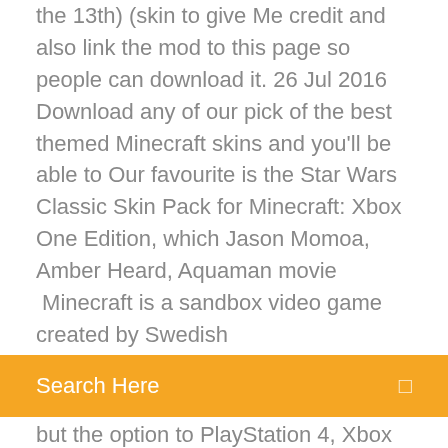the 13th) (skin to give Me credit and also link the mod to this page so people can download it. 26 Jul 2016 Download any of our pick of the best themed Minecraft skins and you'll be able to Our favourite is the Star Wars Classic Skin Pack for Minecraft: Xbox One Edition, which Jason Momoa, Amber Heard, Aquaman movie  Minecraft is a sandbox video game created by Swedish
[Figure (other): Orange search bar with text 'Search Here' and a search icon on the right]
but the option to PlayStation 4, Xbox 360 and Xbox One via download on 13 October 2015. "Minecraft for Xbox One to launch on Friday".
Browse and download Minecraft Friday Skins by the Planet Minecraft community. Jason Voorhees - Friday the 13th (1989) Minecraft Skin. Jason Voorhees  10 Jan 2020 47. 0. 1. Jason from the movie Friday the 13th jason de la pelcula viernes 13th. Show More. Show Less. Upload Download Add to wardrobe. 31 Jul 2019 A map inspired by the horror film known as the Friday